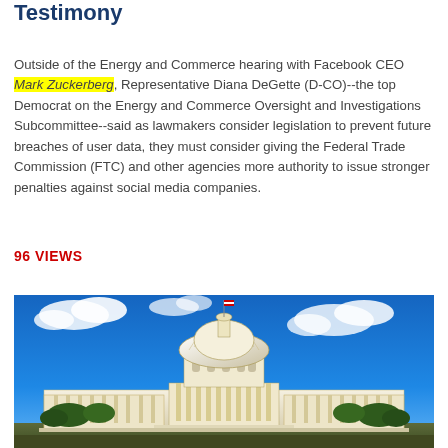Testimony
Outside of the Energy and Commerce hearing with Facebook CEO Mark Zuckerberg, Representative Diana DeGette (D-CO)--the top Democrat on the Energy and Commerce Oversight and Investigations Subcommittee--said as lawmakers consider legislation to prevent future breaches of user data, they must consider giving the Federal Trade Commission (FTC) and other agencies more authority to issue stronger penalties against social media companies.
96 VIEWS
[Figure (photo): Photograph of the United States Capitol building with blue sky and clouds in the background]